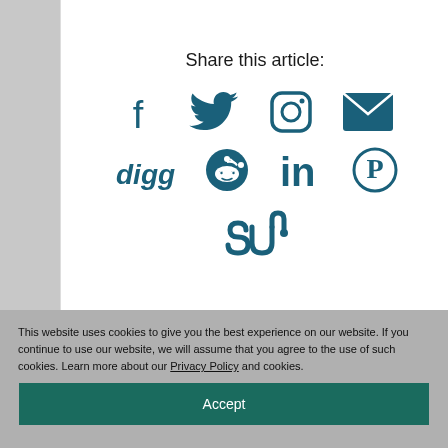Share this article:
[Figure (infographic): Social share icons: Facebook, Twitter, Instagram, Email, Digg, Reddit, LinkedIn, Pinterest, StumbleUpon — all in dark teal color]
This website uses cookies to give you the best experience on our website. If you continue to use our website, we will assume that you agree to the use of such cookies. Learn more about our Privacy Policy and cookies.
Accept